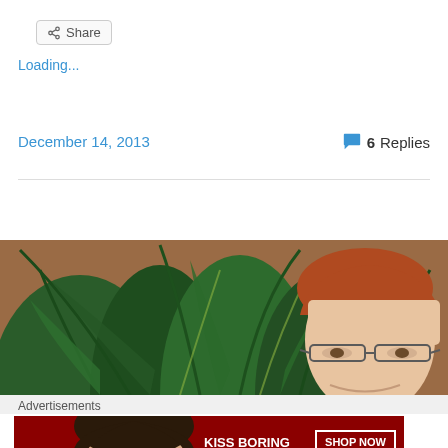Share
Loading...
December 14, 2013
6 Replies
[Figure (photo): Photo of a man with reddish-brown hair and glasses, with tropical plants in the background]
Advertisements
[Figure (photo): Macy's advertisement banner: KISS BORING LIPS GOODBYE with SHOP NOW button and Macy's star logo, featuring a woman with red lipstick]